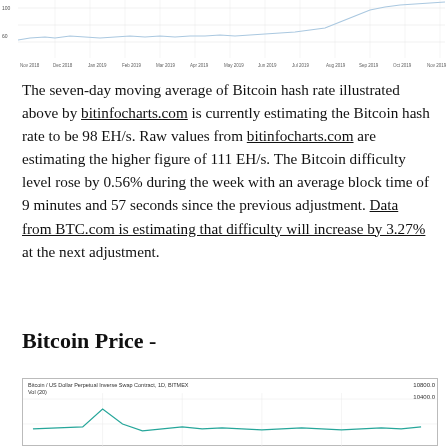[Figure (continuous-plot): Seven-day moving average of Bitcoin hash rate line chart from Nov 2018 to Dec 2019, showing dates on x-axis and values on y-axis with a mostly flat then rising line]
The seven-day moving average of Bitcoin hash rate illustrated above by bitinfocharts.com is currently estimating the Bitcoin hash rate to be 98 EH/s. Raw values from bitinfocharts.com are estimating the higher figure of 111 EH/s. The Bitcoin difficulty level rose by 0.56% during the week with an average block time of 9 minutes and 57 seconds since the previous adjustment. Data from BTC.com is estimating that difficulty will increase by 3.27% at the next adjustment.
Bitcoin Price -
[Figure (continuous-plot): Bitcoin / US Dollar Perpetual Inverse Swap Contract, 1D, BITMEX chart with volume indicator, showing price levels around 10400-10800]